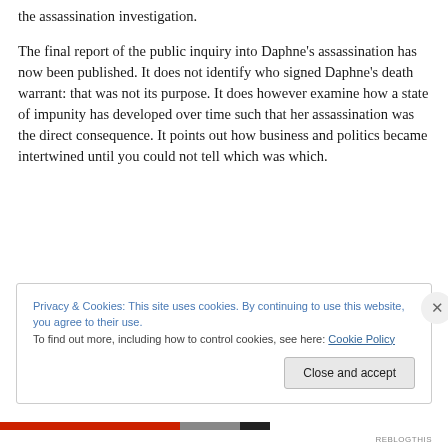the assassination investigation.
The final report of the public inquiry into Daphne's assassination has now been published. It does not identify who signed Daphne's death warrant: that was not its purpose. It does however examine how a state of impunity has developed over time such that her assassination was the direct consequence. It points out how business and politics became intertwined until you could not tell which was which.
Privacy & Cookies: This site uses cookies. By continuing to use this website, you agree to their use.
To find out more, including how to control cookies, see here: Cookie Policy
Close and accept